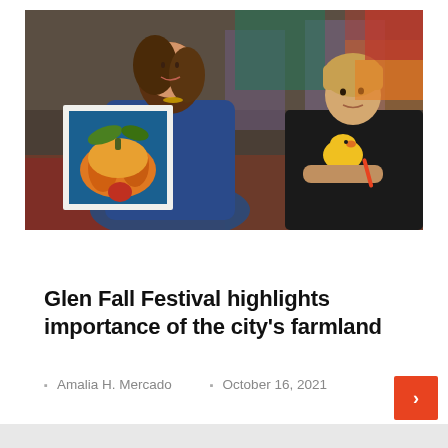[Figure (photo): A woman holding a painting of a pumpkin sits at a table with a boy in a black t-shirt with a rubber duck graphic, in an indoor market or festival setting.]
Agricultural land
Glen Fall Festival highlights importance of the city's farmland
Amalia H. Mercado   October 16, 2021